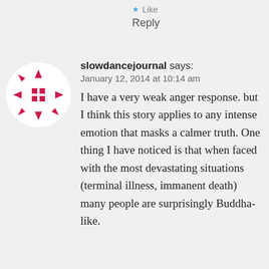Like
Reply
[Figure (logo): Circular logo with a crimson/red geometric pattern featuring arrows pointing outward in four directions and three squares in the center, on a white circular background]
slowdancejournal says:
January 12, 2014 at 10:14 am
I have a very weak anger response. but I think this story applies to any intense emotion that masks a calmer truth. One thing I have noticed is that when faced with the most devastating situations (terminal illness, immanent death) many people are surprisingly Buddha-like.